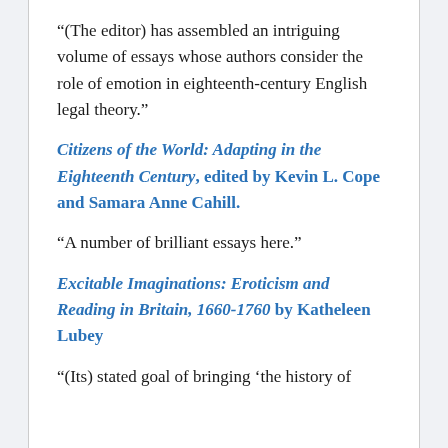“(The editor) has assembled an intriguing volume of essays whose authors consider the role of emotion in eighteenth-century English legal theory.”
Citizens of the World: Adapting in the Eighteenth Century, edited by Kevin L. Cope and Samara Anne Cahill.
“A number of brilliant essays here.”
Excitable Imaginations: Eroticism and Reading in Britain, 1660-1760 by Katheleen Lubey
“(Its) stated goal of bringing ‘the history of